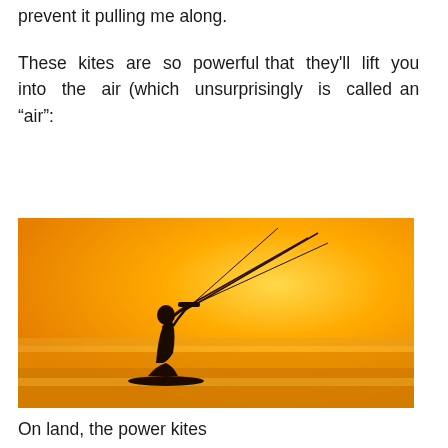prevent it pulling me along.
These kites are so powerful that they'll lift you into the air (which unsurprisingly is called an “air”:
[Figure (photo): Silhouette of a kitesurfer being lifted into the air against a vivid orange sunset sky, holding the kite bar with lines extending upward, board beneath their feet.]
On land, the power kites